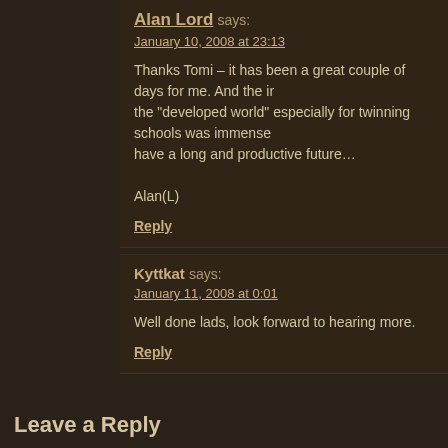Alan Lord says:
January 10, 2008 at 23:13

Thanks Tomi – it has been a great couple of days for me. And the ir... the "developed world" especially for twinning schools was immense... have a long and productive future…

Alan(L)

Reply
Kyttkat says:
January 11, 2008 at 0:01

Well done lads, look forward to hearing more.

Reply
Leave a Reply
Name (required)
Mail (will not be published) (required)